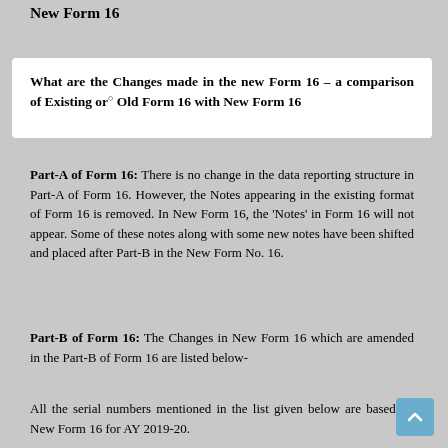New Form 16
What are the Changes made in the new Form 16 – a comparison of Existing or Old Form 16 with New Form 16
Part-A of Form 16: There is no change in the data reporting structure in Part-A of Form 16. However, the Notes appearing in the existing format of Form 16 is removed. In New Form 16, the 'Notes' in Form 16 will not appear. Some of these notes along with some new notes have been shifted and placed after Part-B in the New Form No. 16.
Part-B of Form 16: The Changes in New Form 16 which are amended in the Part-B of Form 16 are listed below-
All the serial numbers mentioned in the list given below are based on New Form 16 for AY 2019-20.